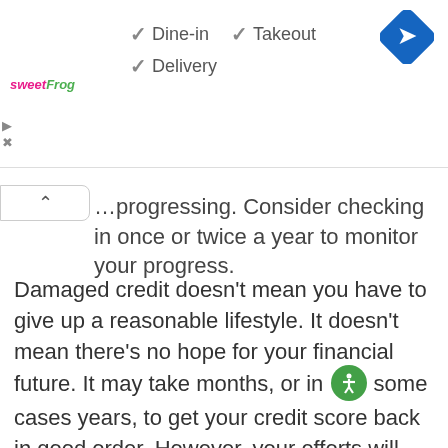[Figure (screenshot): UI overlay showing sweetFrog logo, checkmarks for Dine-in, Takeout, Delivery options, and a Google Maps navigation icon]
…progressing. Consider checking in once or twice a year to monitor your progress.
Damaged credit doesn't mean you have to give up a reasonable lifestyle. It doesn't mean there's no hope for your financial future. It may take months, or in some cases years, to get your credit score back in good order. However, your efforts will rewarded whenever taking out loan, make a major purchase, or make a major life change.